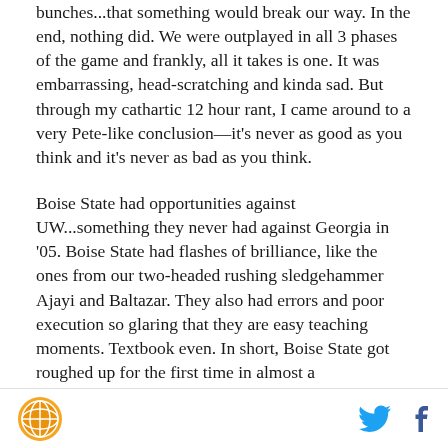bunches...that something would break our way. In the end, nothing did. We were outplayed in all 3 phases of the game and frankly, all it takes is one. It was embarrassing, head-scratching and kinda sad. But through my cathartic 12 hour rant, I came around to a very Pete-like conclusion—it's never as good as you think and it's never as bad as you think.
Boise State had opportunities against UW...something they never had against Georgia in '05. Boise State had flashes of brilliance, like the ones from our two-headed rushing sledgehammer Ajayi and Baltazar. They also had errors and poor execution so glaring that they are easy teaching moments. Textbook even. In short, Boise State got roughed up for the first time in almost a
SB Nation logo | Twitter icon | Facebook icon